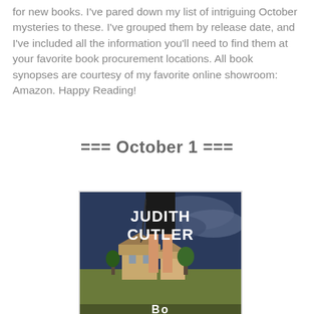for new books. I've pared down my list of intriguing October mysteries to these. I've grouped them by release date, and I've included all the information you'll need to find them at your favorite book procurement locations. All book synopses are courtesy of my favorite online showroom: Amazon. Happy Reading!
=== October 1 ===
[Figure (photo): Book cover for a Judith Cutler novel showing a woman's legs and lower body in a dark skirt, with a scenic English village in the background and the author name JUDITH CUTLER in large white bold text]